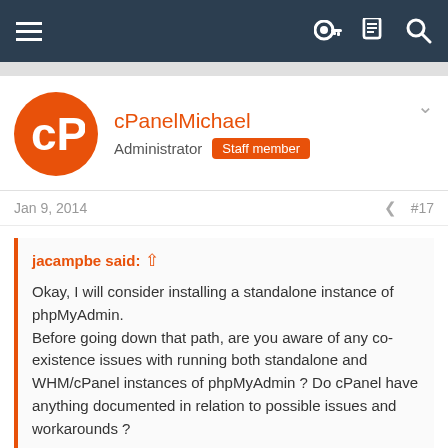Navigation bar with hamburger menu and icons
[Figure (screenshot): cPanel logo avatar - orange circle with white cP letters]
cPanelMichael
Administrator  Staff member
Jan 9, 2014  #17
jacampbe said: ↑
Okay, I will consider installing a standalone instance of phpMyAdmin.
Before going down that path, are you aware of any co-existence issues with running both standalone and WHM/cPanel instances of phpMyAdmin ? Do cPanel have anything documented in relation to possible issues and workarounds ?
A standalone version of phpMyAdmin is installed the same way you would install any other script on an account. It's not something that cPanel would support, but it's usage should be fairly straightforward. It should not interfere with the phpMyAdmin installed by cPanel. However, we do not support it.